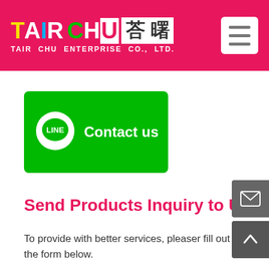TAIR CHU 荅 曙 TAIR CHU ENTERPRISE CO., LTD.
[Figure (logo): LINE Contact us green button with LINE speech bubble logo]
Send Products Inquiry to Us
To provide with better services, pleaser fill out the form below.